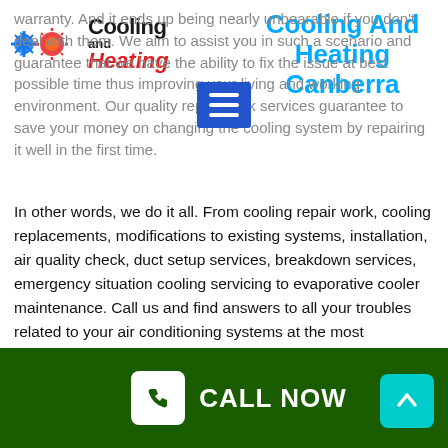[Figure (logo): Cooling and Heating logo with snowflake/sun icon and company name]
Cooling And Heating Canberra
warranty. And it ends up being nearly unbearable if you don't deal with them. We aim to assist you in such a scenario and guarantee that we have the ability to fix the issue at best possible time thus improving your living and working environment. Our quality repair work services guarantee to save your money on changing the cooling system by repairing it well in the first time.
In other words, we do it all. From cooling repair work, cooling replacements, modifications to existing systems, installation, air quality check, duct setup services, breakdown services, emergency situation cooling servicing to evaporative cooler maintenance. Call us and find answers to all your troubles related to your air conditioning systems at the most
CALL NOW